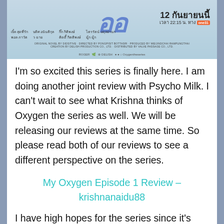[Figure (photo): Thai TV series promotional banner for 'Oxygen The Series' showing the show's title in blue stylized text, cast names in Thai, air date '12 กันยายนนี้' (September 12), time '22:15 น. ทาง', channel ONE31 logo, and production credits.]
I'm so excited this series is finally here. I am doing another joint review with Psycho Milk. I can't wait to see what Krishna thinks of Oxygen the series as well. We will be releasing our reviews at the same time. So please read both of our reviews to see a different perspective on the series.
My Oxygen Episode 1 Review – krishnanaidu88
I have high hopes for the series since it's directed by Jane Pongpisit Bottasri who directed Sotus S the series and Our Sky. These two were excellent, so I feel that Oxygen The Series is in good hands.